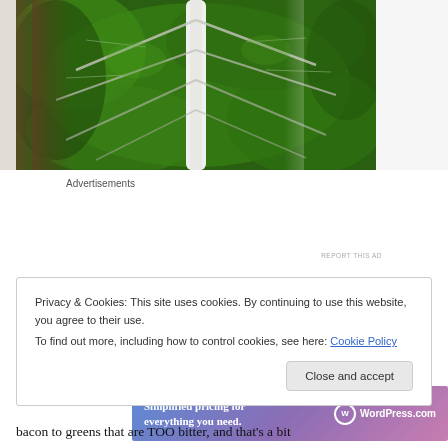[Figure (photo): Close-up photo of a dark green leafy vegetable (Swiss chard or similar) with prominent white central rib and veins, set against a light blurred background.]
Advertisements
[Figure (other): WordPress.com advertisement banner with gradient blue-pink background. Text: 'Simplified pricing for everything you need.' with WordPress.com logo.]
REPORT THIS AD
Privacy & Cookies: This site uses cookies. By continuing to use this website, you agree to their use.
To find out more, including how to control cookies, see here: Cookie Policy
[Close and accept button]
bacon to greens that are TOO bitter, and that's a bit